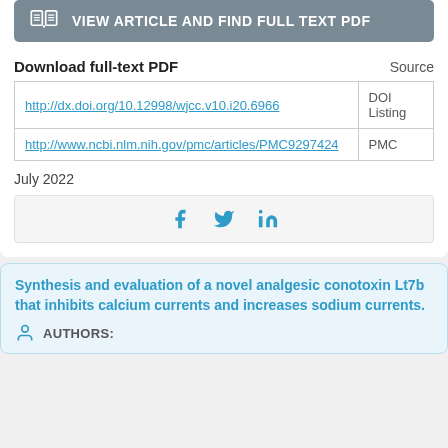[Figure (other): Button: VIEW ARTICLE AND FIND FULL TEXT PDF with book icon]
Download full-text PDF
| Download full-text PDF | Source |
| --- | --- |
| http://dx.doi.org/10.12998/wjcc.v10.i20.6966 | DOI Listing |
| http://www.ncbi.nlm.nih.gov/pmc/articles/PMC9297424 | PMC |
July 2022
[Figure (other): Social share icons: Facebook, Twitter, LinkedIn]
Synthesis and evaluation of a novel analgesic conotoxin Lt7b that inhibits calcium currents and increases sodium currents.
AUTHORS: